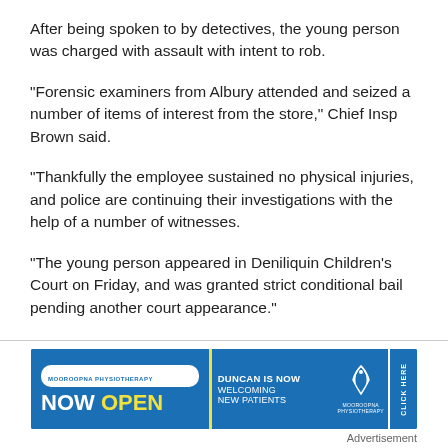After being spoken to by detectives, the young person was charged with assault with intent to rob.
“Forensic examiners from Albury attended and seized a number of items of interest from the store,” Chief Insp Brown said.
“Thankfully the employee sustained no physical injuries, and police are continuing their investigations with the help of a number of witnesses.
“The young person appeared in Deniliquin Children’s Court on Friday, and was granted strict conditional bail pending another court appearance.”
[Figure (other): Advertisement banner for Mooroopna Physiotherapy: blue background with white rounded pill logo reading MOOROOPNA PHYSIOTHERAPY, large text NOW OPEN (OPEN in yellow), middle section with yellow vertical stripe reading DUNCAN IS NOW WELCOMING NEW PATIENTS, right side with Mooroopna Physiotherapy logo icon and CLICK HERE button]